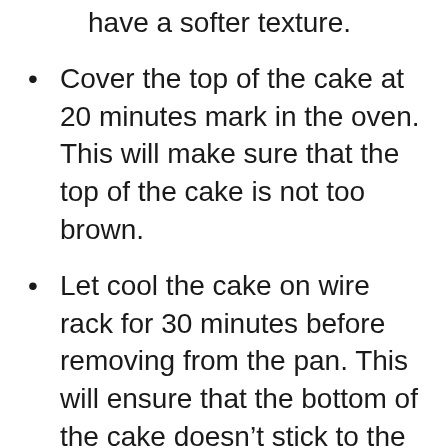have a softer texture.
Cover the top of the cake at 20 minutes mark in the oven. This will make sure that the top of the cake is not too brown.
Let cool the cake on wire rack for 30 minutes before removing from the pan. This will ensure that the bottom of the cake doesn't stick to the pan.